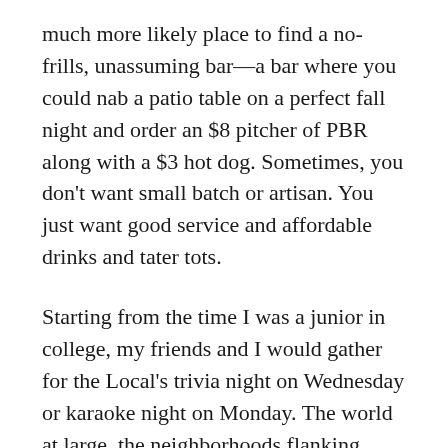much more likely place to find a no-frills, unassuming bar—a bar where you could nab a patio table on a perfect fall night and order an $8 pitcher of PBR along with a $3 hot dog. Sometimes, you don't want small batch or artisan. You just want good service and affordable drinks and tater tots.
Starting from the time I was a junior in college, my friends and I would gather for the Local's trivia night on Wednesday or karaoke night on Monday. The world at large, the neighborhoods flanking Ponce, and my personal circumstances have changed drastically in the ensuing years. (I have a box of strips from the bar's former photobooth of friends who remain in my life and others who don't.) But the